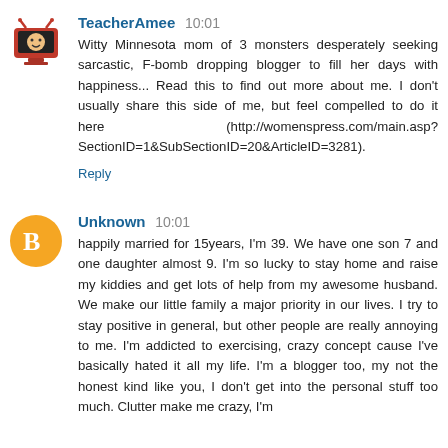TeacherAmee 10:01
Witty Minnesota mom of 3 monsters desperately seeking sarcastic, F-bomb dropping blogger to fill her days with happiness... Read this to find out more about me. I don't usually share this side of me, but feel compelled to do it here (http://womenspress.com/main.asp?SectionID=1&SubSectionID=20&ArticleID=3281).
Reply
Unknown 10:01
happily married for 15years, I'm 39. We have one son 7 and one daughter almost 9. I'm so lucky to stay home and raise my kiddies and get lots of help from my awesome husband. We make our little family a major priority in our lives. I try to stay positive in general, but other people are really annoying to me. I'm addicted to exercising, crazy concept cause I've basically hated it all my life. I'm a blogger too, my not the honest kind like you, I don't get into the personal stuff too much. Clutter make me crazy, I'm